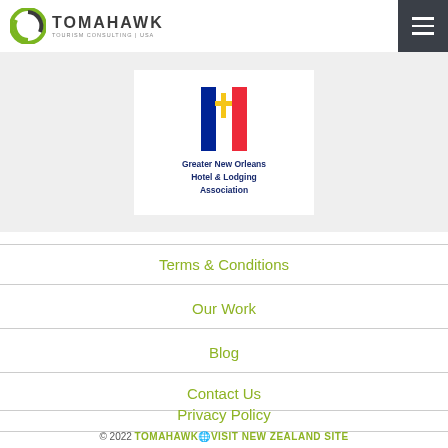TOMAHAWK TOURISM CONSULTING | USA
[Figure (logo): Greater New Orleans Hotel & Lodging Association logo with French-style tricolor flag icon]
Terms & Conditions
Our Work
Blog
Contact Us
Privacy Policy
© 2022 TOMAHAWK🌐VISIT NEW ZEALAND SITE